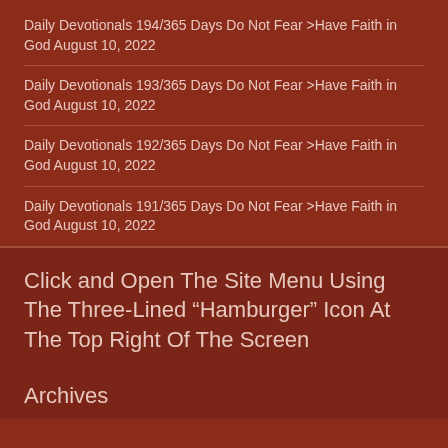Daily Devotionals 194/365 Days Do Not Fear >Have Faith in God August 10, 2022
Daily Devotionals 193/365 Days Do Not Fear >Have Faith in God August 10, 2022
Daily Devotionals 192/365 Days Do Not Fear >Have Faith in God August 10, 2022
Daily Devotionals 191/365 Days Do Not Fear >Have Faith in God August 10, 2022
Click and Open The Site Menu Using The Three-Lined “Hamburger” Icon At The Top Right Of The Screen
Archives